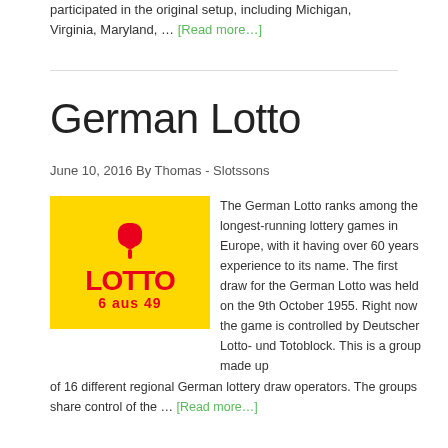participated in the original setup, including Michigan, Virginia, Maryland, … [Read more…]
German Lotto
June 10, 2016 By Thomas - Slotssons
[Figure (logo): German Lotto 6 aus 49 logo on yellow background with red clover and red text]
The German Lotto ranks among the longest-running lottery games in Europe, with it having over 60 years experience to its name. The first draw for the German Lotto was held on the 9th October 1955. Right now the game is controlled by Deutscher Lotto- und Totoblock. This is a group made up of 16 different regional German lottery draw operators. The groups share control of the … [Read more…]